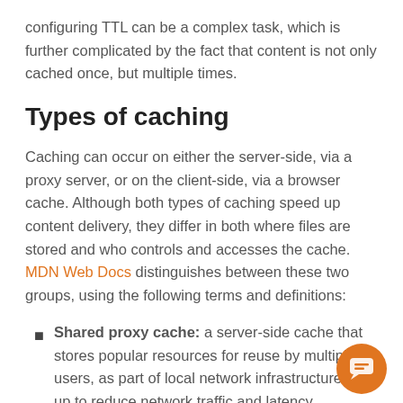configuring TTL can be a complex task, which is further complicated by the fact that content is not only cached once, but multiple times.
Types of caching
Caching can occur on either the server-side, via a proxy server, or on the client-side, via a browser cache. Although both types of caching speed up content delivery, they differ in both where files are stored and who controls and accesses the cache. MDN Web Docs distinguishes between these two groups, using the following terms and definitions:
Shared proxy cache: a server-side cache that stores popular resources for reuse by multiple users, as part of local network infrastructure set up to reduce network traffic and latency.